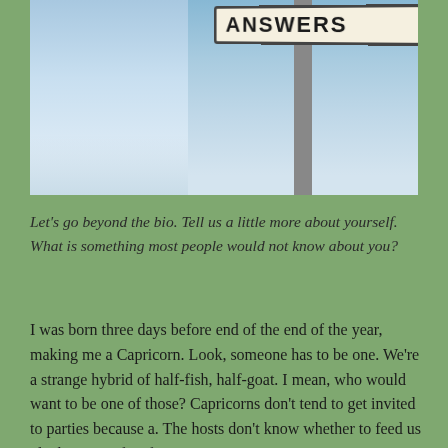[Figure (photo): Photo of a street sign reading ANSWERS against a blue sky background, with a sign pole. Left half shows cloudy blue sky.]
Let's go beyond the bio. Tell us a little more about yourself. What is something most people would not know about you?
I was born three days before end of the end of the year, making me a Capricorn. Look, someone has to be one. We're a strange hybrid of half-fish, half-goat. I mean, who would want to be one of those? Capricorns don't tend to get invited to parties because a. The hosts don't know whether to feed us plankton or tufts of